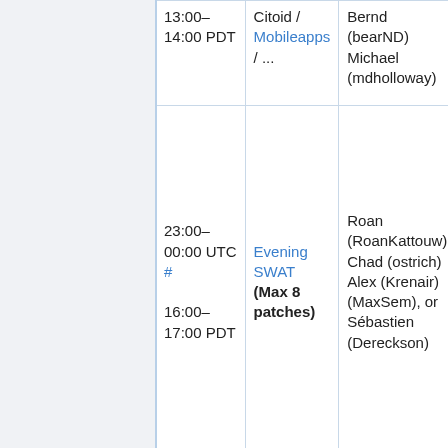| Time | Task | People |
| --- | --- | --- |
| 13:00–14:00 PDT | Citoid / Mobileapps / ... | Bernd (bearND), Michael (mdholloway) |
| 23:00–00:00 UTC #
16:00–17:00 PDT | Evening SWAT
(Max 8 patches) | Roan (RoanKattouw), Chad (ostrich), Alex (Krenair), (MaxSem), or Sébastien (Dereckson) |
| Tuesday, May 31 |  |  |
|  |  |  |